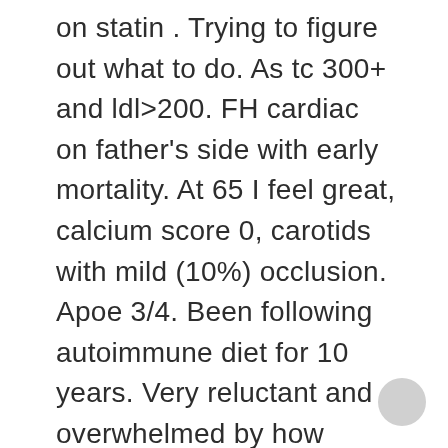on statin . Trying to figure out what to do. As tc 300+ and ldl>200. FH cardiac on father's side with early mortality. At 65 I feel great, calcium score 0, carotids with mild (10%) occlusion. Apoe 3/4. Been following autoimmune diet for 10 years. Very reluctant and overwhelmed by how complicated the issue is. Will appreciate educational information, please send me information.